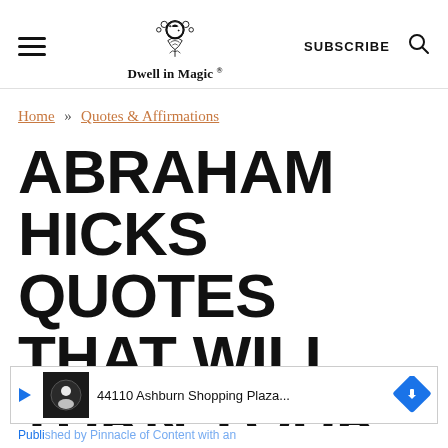Dwell in Magic® — SUBSCRIBE
Home » Quotes & Affirmations
ABRAHAM HICKS QUOTES THAT WILL TURN YOUR LIFE AROUND
[Figure (screenshot): Advertisement banner: 44110 Ashburn Shopping Plaza... with map navigation icon]
Published by Pinnacle of Content with an